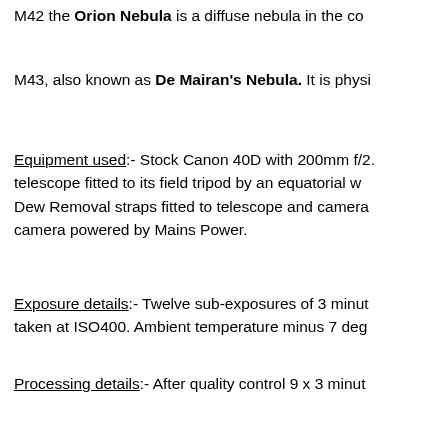M42 the Orion Nebula is a diffuse nebula in the co...
M43, also known as De Mairan's Nebula. It is physi...
Equipment used:- Stock Canon 40D with 200mm f/2... telescope fitted to its field tripod by an equatorial w... Dew Removal straps fitted to telescope and camera... camera powered by Mains Power.
Exposure details:- Twelve sub-exposures of 3 minut... taken at ISO400. Ambient temperature minus 7 deg...
Processing details:- After quality control 9 x 3 minut... calibrated with Dark, Flat-field and Bias master fram... separate images were then processed in Images Plu... produced before noise reduction in Noise Ninja. No... degrees.
Narrative description:- Seven days after New Moo...